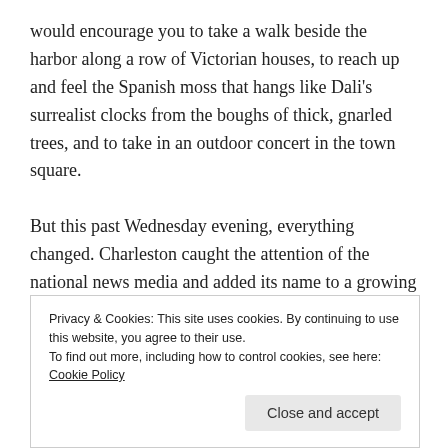would encourage you to take a walk beside the harbor along a row of Victorian houses, to reach up and feel the Spanish moss that hangs like Dali's surrealist clocks from the boughs of thick, gnarled trees, and to take in an outdoor concert in the town square.

But this past Wednesday evening, everything changed. Charleston caught the attention of the national news media and added its name to a growing list of locations: Ferguson, Baltimore, Cleveland, Newtown, Staten Island, Columbine, Midtown Manhattan, Oklahoma City, and too many more–all plagued by
Privacy & Cookies: This site uses cookies. By continuing to use this website, you agree to their use.
To find out more, including how to control cookies, see here: Cookie Policy
Close and accept